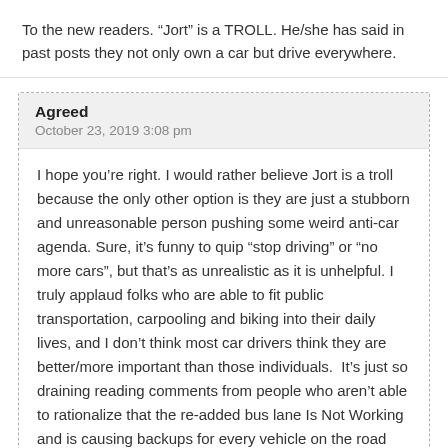To the new readers. “Jort” is a TROLL. He/she has said in past posts they not only own a car but drive everywhere.
Agreed
October 23, 2019 3:08 pm
I hope you’re right. I would rather believe Jort is a troll because the only other option is they are just a stubborn and unreasonable person pushing some weird anti-car agenda. Sure, it’s funny to quip “stop driving” or “no more cars”, but that’s as unrealistic as it is unhelpful. I truly applaud folks who are able to fit public transportation, carpooling and biking into their daily lives, and I don’t think most car drivers think they are better/more important than those individuals.  It’s just so draining reading comments from people who aren’t able to rationalize that the re-added bus lane Is Not Working and is causing backups for every vehicle on the road (buses!). This is not car drivers being whiny, or thinking they are priority over buses. It is a very observable fact that will most likely get worse after tolling begins. Advocates for the bus lane, media like the conditions in some other cities...